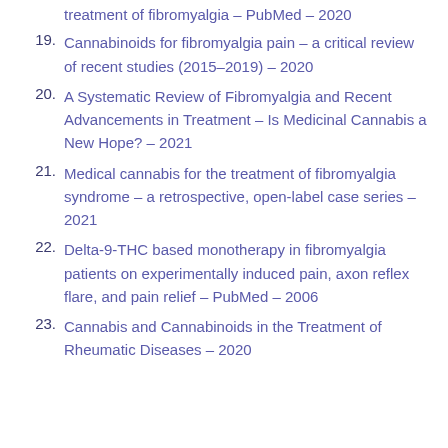treatment of fibromyalgia – PubMed – 2020
19. Cannabinoids for fibromyalgia pain – a critical review of recent studies (2015–2019) – 2020
20. A Systematic Review of Fibromyalgia and Recent Advancements in Treatment – Is Medicinal Cannabis a New Hope? – 2021
21. Medical cannabis for the treatment of fibromyalgia syndrome – a retrospective, open-label case series – 2021
22. Delta-9-THC based monotherapy in fibromyalgia patients on experimentally induced pain, axon reflex flare, and pain relief – PubMed – 2006
23. Cannabis and Cannabinoids in the Treatment of Rheumatic Diseases – 2020